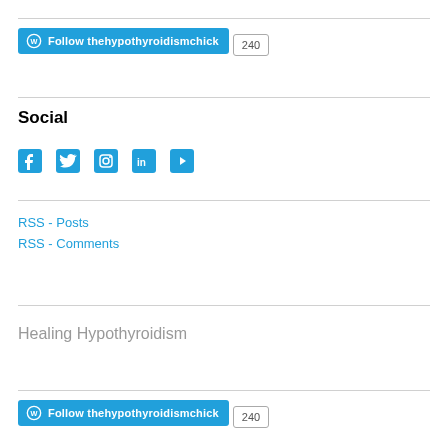[Figure (other): WordPress Follow button for thehypothyroidismchick with follower count 240 (top)]
Social
[Figure (other): Social media icons: Facebook, Twitter, Instagram, LinkedIn, YouTube in blue]
RSS - Posts
RSS - Comments
Healing Hypothyroidism
[Figure (other): WordPress Follow button for thehypothyroidismchick with follower count 240 (bottom)]